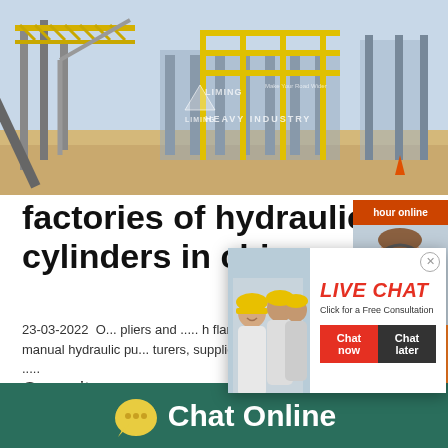[Figure (photo): Industrial heavy equipment facility/construction plant with yellow scaffolding and conveyor systems. LIMING HEAVY INDUSTRY logo and tagline 'Make Your Road Wider' overlaid on image.]
factories of hydraulic cylinders in chima
23-03-2022  O... pliers and ..... h flanged in securely. ... manual hydraulic pu... turers, suppliers, factory, wholesale .....
Capacity
450-500T/H
[Figure (screenshot): Live Chat popup overlay with workers in hard hats photo on left, red 'LIVE CHAT' text, 'Click for a Free Consultation' subtitle, and Chat now / Chat later buttons.]
[Figure (screenshot): Right sidebar with orange background showing 'hour online' header, customer service agent with headset photo, orange 'Click to chat' button, and orange 'Enquiry' button.]
Chat Online